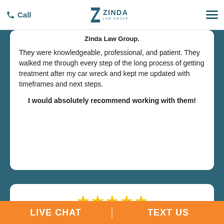Call | Zinda Law Group | [menu]
Zinda Law Group.
They were knowledgeable, professional, and patient. They walked me through every step of the long process of getting treatment after my car wreck and kept me updated with timeframes and next steps.
I would absolutely recommend working with them!
[Figure (other): Five yellow star rating icons]
Zinda Law Group has gone above and beyond in handling my case.
They professionally supported me through every step of
[Figure (photo): Chat widget with blonde female customer service agent, red speech bubble with audio waveform icon, and green online indicator dot]
LIVE CHAT | TEXT US